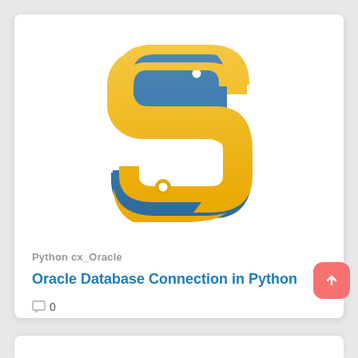[Figure (logo): Python programming language logo — blue snake head curling left on top, yellow snake head curling right on bottom, intertwined]
Python cx_Oracle
Oracle Database Connection in Python
0